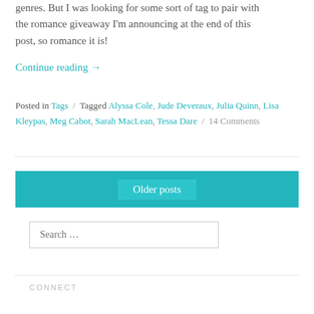genres. But I was looking for some sort of tag to pair with the romance giveaway I'm announcing at the end of this post, so romance it is!
Continue reading →
Posted in Tags / Tagged Alyssa Cole, Jude Deveraux, Julia Quinn, Lisa Kleypas, Meg Cabot, Sarah MacLean, Tessa Dare / 14 Comments
Older posts
Search …
CONNECT